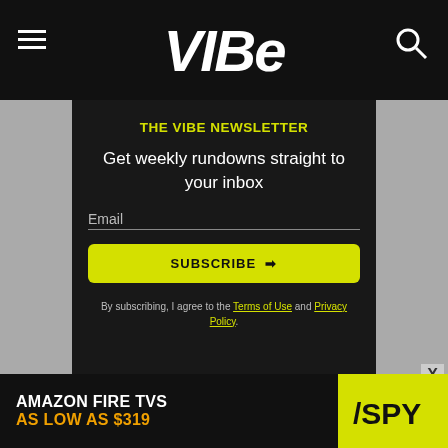VIBE
THE VIBE NEWSLETTER
Get weekly rundowns straight to your inbox
Email
SUBSCRIBE →
By subscribing, I agree to the Terms of Use and Privacy Policy.
[Figure (screenshot): Advertisement banner: AMAZON FIRE TVS AS LOW AS $319 with SPY logo]
AMAZON FIRE TVS AS LOW AS $319